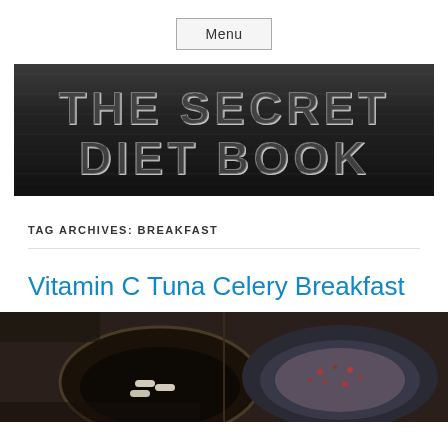Menu
[Figure (logo): The Secret Diet Book banner with dark textured metallic background and large bold embossed grey text reading 'THE SECRET DIET BOOK']
TAG ARCHIVES: BREAKFAST
Vitamin C Tuna Celery Breakfast
[Figure (photo): Photo of food bowls containing tuna celery breakfast items including capsules/supplements in a dark bowl and a dish with red seasoning on the right]